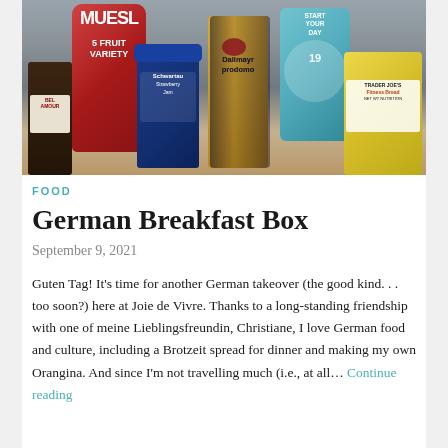[Figure (photo): Photo of German breakfast food items on a wooden surface: a red Muesli bag (5 Fruit Variety), a dark container, a blue jar of Schwartau Strawberry jam, a gold box of Dallmayr prodomo coffee, a blue Start Your Day tea box, and a yellow Trader Joe's Fitness Bread package]
FOOD
German Breakfast Box
September 9, 2021
Guten Tag! It's time for another German takeover (the good kind. . . too soon?) here at Joie de Vivre. Thanks to a long-standing friendship with one of meine Lieblingsfreundin, Christiane, I love German food and culture, including a Brotzeit spread for dinner and making my own Orangina. And since I'm not travelling much (i.e., at all… Continue reading